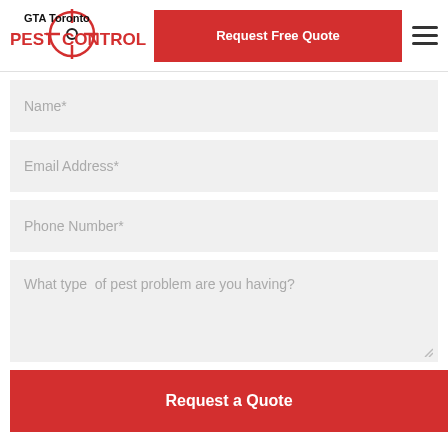[Figure (logo): GTA Toronto Pest Control logo with red crosshair target graphic and red text 'PEST CONTROL', black text 'GTA Toronto']
Request Free Quote
Name*
Email Address*
Phone Number*
What type  of pest problem are you having?
Request a Quote